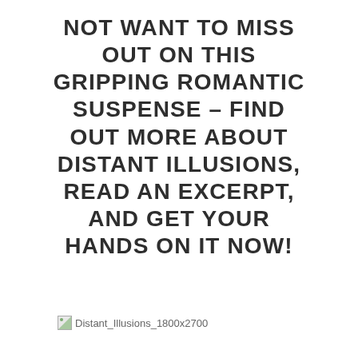NOT WANT TO MISS OUT ON THIS GRIPPING ROMANTIC SUSPENSE – FIND OUT MORE ABOUT DISTANT ILLUSIONS, READ AN EXCERPT, AND GET YOUR HANDS ON IT NOW!
[Figure (other): Broken image placeholder with alt text 'Distant_Illusions_1800x2700']